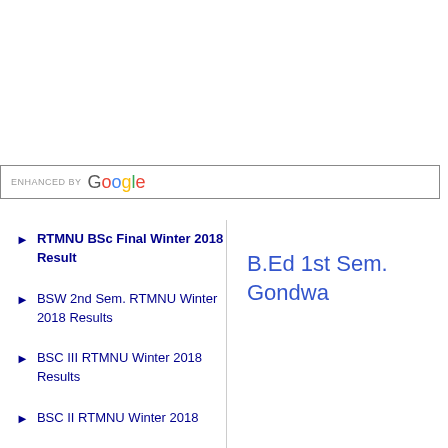[Figure (screenshot): Google custom search bar with 'ENHANCED BY Google' label]
RTMNU BSc Final Winter 2018 Result
BSW 2nd Sem. RTMNU Winter 2018 Results
BSC III RTMNU Winter 2018 Results
BSC II RTMNU Winter 2018
B.Ed 1st Sem. Gondwa